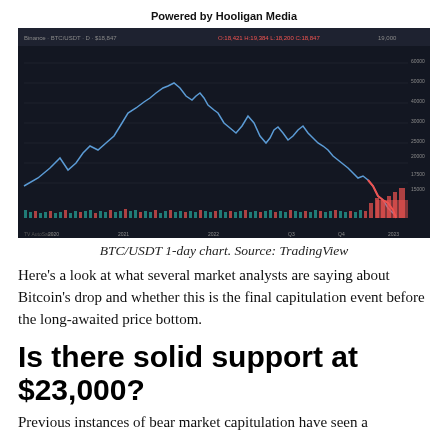Powered by Hooligan Media
[Figure (continuous-plot): BTC/USDT 1-day candlestick chart from TradingView showing Bitcoin price history with a peak and subsequent decline, volume bars at bottom, dark background theme.]
BTC/USDT 1-day chart. Source: TradingView
Here’s a look at what several market analysts are saying about Bitcoin’s drop and whether this is the final capitulation event before the long-awaited price bottom.
Is there solid support at $23,000?
Previous instances of bear market capitulation have seen a